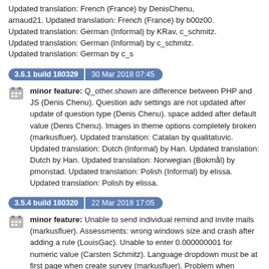Updated translation: French (France) by DenisChenu, arnaud21. Updated translation: French (France) by b00z00. Updated translation: German (Informal) by KRav, c_schmitz. Updated translation: German (Informal) by c_schmitz. Updated translation: German by c_s
3.6.1 build 180329   30 Mar 2018 07:45
minor feature: Q_other.shown are difference between PHP and JS (Denis Chenu). Question adv settings are not updated after update of question type (Denis Chenu). space added after default value (Denis Chenu). Images in theme options completely broken (markusfluer). Updated translation: Catalan by qualitatuvic. Updated translation: Dutch (Informal) by Han. Updated translation: Dutch by Han. Updated translation: Norwegian (Bokmål) by pmonstad. Updated translation: Polish (Informal) by elissa. Updated translation: Polish by elissa.
3.5.4 build 180320   22 Mar 2018 17:05
minor feature: Unable to send individual remind and invite mails (markusfluer). Assessments: wrong windows size and crash after adding a rule (LouisGac). Unable to enter 0.000000001 for numeric value (Carsten Schmitz). Language dropdown must be at first page when create survey (markusfluer). Problem when activating force_xmlsettings_for_survey_rendering (markusfluer). Calculations sometimes fail in EM (markusfluer). Multiple problems regarding question reorder (markusfluer). PDF